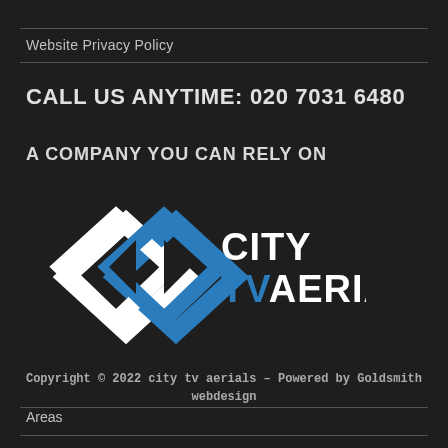Website Privacy Policy
CALL US ANYTIME: 020 7031 6480
A COMPANY YOU CAN RELY ON
[Figure (logo): City TV Aerials logo with interlocked diamond shapes in white and blue, company name CITY TVaerials in white and blue text]
Copyright © 2022 city tv aerials – Powered by Goldsmith webdesign
Areas